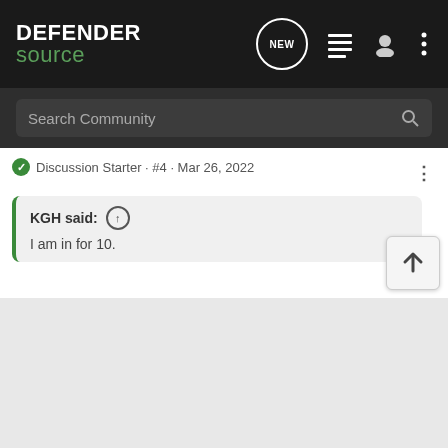[Figure (screenshot): Defender Source forum website navigation bar with logo, NEW button, list icon, user icon, and menu dots]
Search Community
Discussion Starter · #4 · Mar 26, 2022
KGH said: ↑
I am in for 10.
I will post when the order goes in.
Jim
KGH